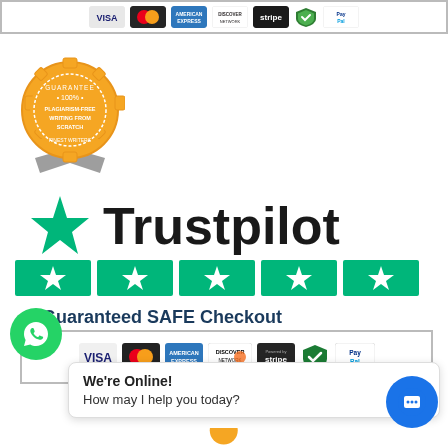[Figure (other): Payment method logos strip at top (Visa, MasterCard, American Express, Discover, Stripe, security badge, PayPal) inside a bordered rectangle]
[Figure (other): Orange/gold guarantee badge seal with ribbon - 100% Plagiarism-Free Writing From Scratch, Expert Writers]
[Figure (logo): Trustpilot logo with green star and text 'Trustpilot', with five green star rating boxes below]
Guaranteed SAFE Checkout
[Figure (other): Guaranteed SAFE Checkout strip with payment logos: VISA, MasterCard, American Express, Discover Network, Stripe, security shield, PayPal]
[Figure (other): WhatsApp green circular button on left side]
We're Online!
How may I help you today?
[Figure (other): Blue chat bubble circular button on bottom right]
[Figure (other): Bottom orange guarantee badge partially visible]